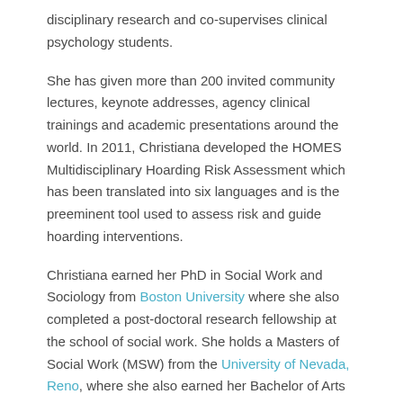disciplinary research and co-supervises clinical psychology students.
She has given more than 200 invited community lectures, keynote addresses, agency clinical trainings and academic presentations around the world. In 2011, Christiana developed the HOMES Multidisciplinary Hoarding Risk Assessment which has been translated into six languages and is the preeminent tool used to assess risk and guide hoarding interventions.
Christiana earned her PhD in Social Work and Sociology from Boston University where she also completed a post-doctoral research fellowship at the school of social work. She holds a Masters of Social Work (MSW) from the University of Nevada, Reno, where she also earned her Bachelor of Arts in Social Psychology.